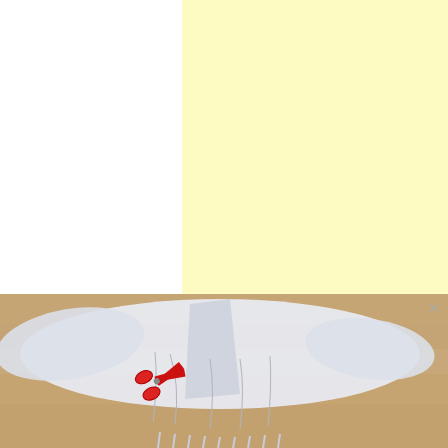[Figure (other): Light yellow rectangular advertisement placeholder block]
[Figure (photo): Photo of a white fabric kimono laid flat on a wooden floor with red scissors placed on it]
Recomendado para você
Como fazer um kimono passo...
customizando.net
+ AddThis